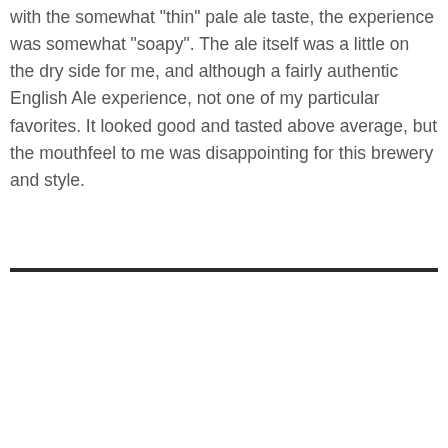with the somewhat "thin" pale ale taste, the experience was somewhat "soapy". The ale itself was a little on the dry side for me, and although a fairly authentic English Ale experience, not one of my particular favorites. It looked good and tasted above average, but the mouthfeel to me was disappointing for this brewery and style.